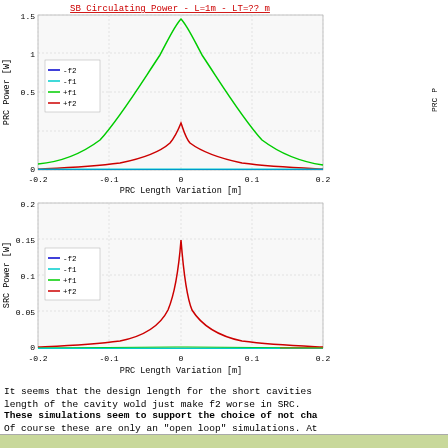[Figure (continuous-plot): PRC circulating power vs PRC Length Variation [m], showing four sidebands: -f2 (blue), -f1 (cyan), +f1 (green, dominant peak ~1.15W at 0), +f2 (red, secondary peak ~0.4W at 0). Y-axis: PRC Power [W] 0 to 1.5.]
[Figure (continuous-plot): SRC circulating power vs PRC Length Variation [m], showing four sidebands: -f2 (blue), -f1 (cyan), +f1 (green, near zero), +f2 (red, dominant peak ~0.155W at 0). Y-axis: SRC Power [W] 0 to 0.2.]
It seems that the design length for the short cavities length of the cavity wold just make f2 worse in SRC.
These simulations seem to support the choice of not cha
Of course these are only an "open loop" simulations. At control loops. That is something I'm going to do later. length on the whole IFO.